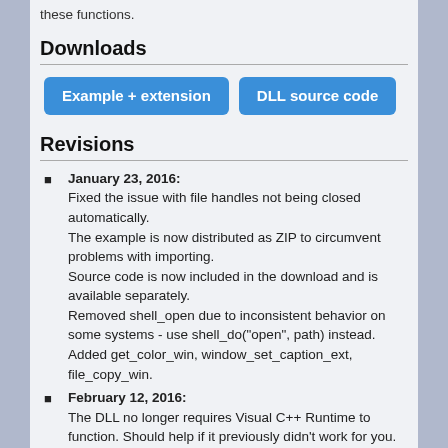these functions.
Downloads
[Figure (other): Two blue download buttons: 'Example + extension' and 'DLL source code']
Revisions
January 23, 2016: Fixed the issue with file handles not being closed automatically. The example is now distributed as ZIP to circumvent problems with importing. Source code is now included in the download and is available separately. Removed shell_open due to inconsistent behavior on some systems - use shell_do("open", path) instead. Added get_color_win, window_set_caption_ext, file_copy_win.
February 12, 2016: The DLL no longer requires Visual C++ Runtime to function. Should help if it previously didn't work for you.
Have fun!